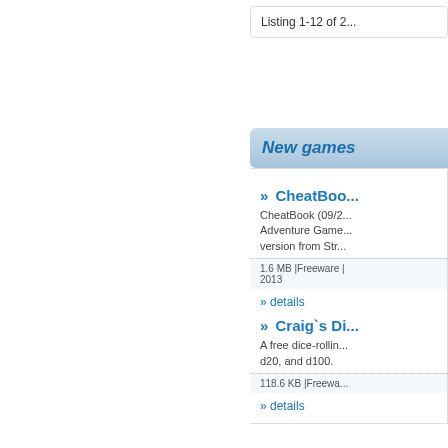Listing 1-12 of 2...
New games
» CheatBoo...
CheatBook (09/2... Adventure Game... version from Str...
1.6 MB |Freeware | 2013
» details
» Craig`s Di...
A free dice-rollin... d20, and d100.
118.6 KB |Freewa...
» details